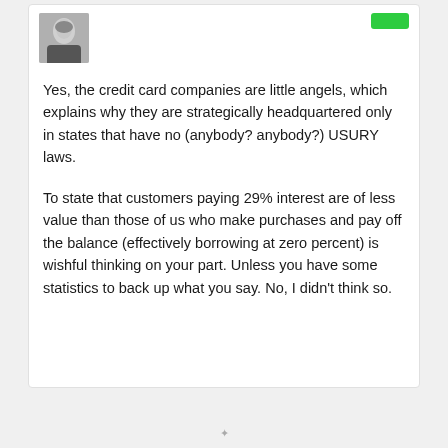[Figure (photo): Black and white headshot photo of a person in a suit]
Yes, the credit card companies are little angels, which explains why they are strategically headquartered only in states that have no (anybody? anybody?) USURY laws.
To state that customers paying 29% interest are of less value than those of us who make purchases and pay off the balance (effectively borrowing at zero percent) is wishful thinking on your part. Unless you have some statistics to back up what you say. No, I didn't think so.